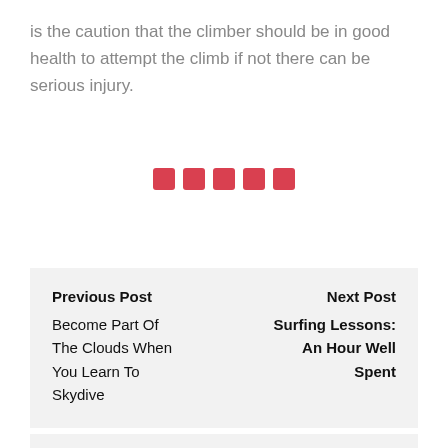is the caution that the climber should be in good health to attempt the climb if not there can be serious injury.
[Figure (other): Five red square decorative divider dots in a row]
Previous Post
Become Part Of The Clouds When You Learn To Skydive
Next Post
Surfing Lessons: An Hour Well Spent